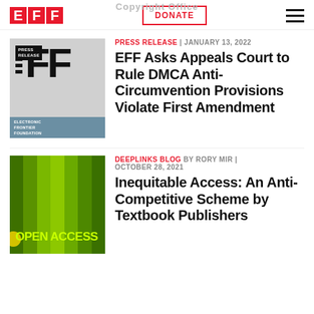Copyright Office
[Figure (logo): EFF logo with red letter blocks]
DONATE
[Figure (illustration): EFF Press Release thumbnail with black geometric shapes and blue bottom bar reading ELECTRONIC FRONTIER FOUNDATION]
PRESS RELEASE | JANUARY 13, 2022
EFF Asks Appeals Court to Rule DMCA Anti-Circumvention Provisions Violate First Amendment
[Figure (illustration): Green gradient background with OPEN ACCESS text in yellow-green and a yellow circle]
DEEPLINKS BLOG BY RORY MIR | OCTOBER 28, 2021
Inequitable Access: An Anti-Competitive Scheme by Textbook Publishers